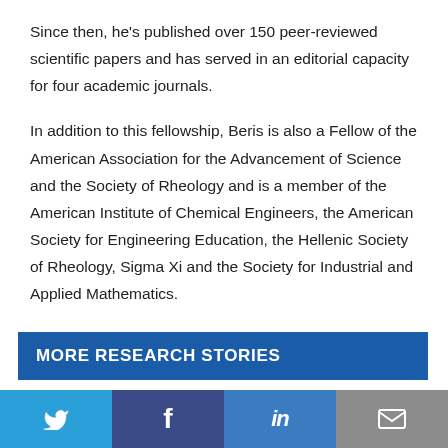Since then, he's published over 150 peer-reviewed scientific papers and has served in an editorial capacity for four academic journals.
In addition to this fellowship, Beris is also a Fellow of the American Association for the Advancement of Science and the Society of Rheology and is a member of the American Institute of Chemical Engineers, the American Society for Engineering Education, the Hellenic Society of Rheology, Sigma Xi and the Society for Industrial and Applied Mathematics.
MORE RESEARCH STORIES
Twitter | Facebook | LinkedIn | Email